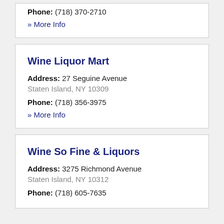Phone: (718) 370-2710
» More Info
Wine Liquor Mart
Address: 27 Seguine Avenue
Staten Island, NY 10309
Phone: (718) 356-3975
» More Info
Wine So Fine & Liquors
Address: 3275 Richmond Avenue
Staten Island, NY 10312
Phone: (718) 605-7635